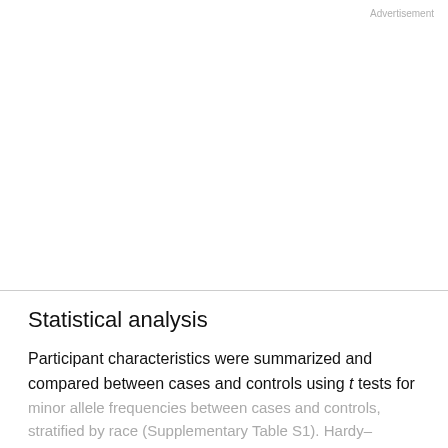Advertisement
Statistical analysis
Participant characteristics were summarized and compared between cases and controls using t tests for continuous variables and χ2 tests for categorical variables, separately by Caucasian and African-American self-reported race/ethnicity. χ2 tests were used to compare minor allele frequencies between cases and controls, stratified by race (Supplementary Table S1). Hardy–Weinberg equilibrium (HWE) was tested for all SNPs by race. Those SNPs not meeting HWE were not included in
This site uses cookies. By continuing to use our website, you are agreeing to our privacy policy. Accept